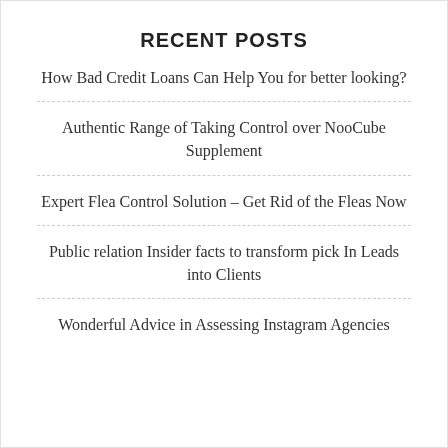RECENT POSTS
How Bad Credit Loans Can Help You for better looking?
Authentic Range of Taking Control over NooCube Supplement
Expert Flea Control Solution – Get Rid of the Fleas Now
Public relation Insider facts to transform pick In Leads into Clients
Wonderful Advice in Assessing Instagram Agencies